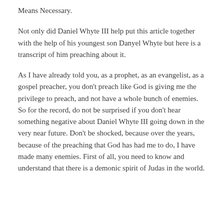Means Necessary.
Not only did Daniel Whyte III help put this article together with the help of his youngest son Danyel Whyte but here is a transcript of him preaching about it.
As I have already told you, as a prophet, as an evangelist, as a gospel preacher, you don't preach like God is giving me the privilege to preach, and not have a whole bunch of enemies. So for the record, do not be surprised if you don't hear something negative about Daniel Whyte III going down in the very near future. Don't be shocked, because over the years, because of the preaching that God has had me to do, I have made many enemies. First of all, you need to know and understand that there is a demonic spirit of Judas in the world.